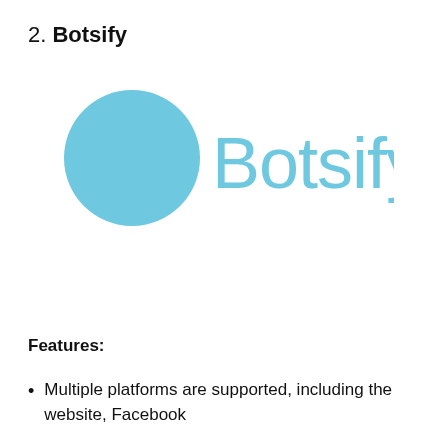2. Botsify
[Figure (logo): Botsify logo: a light blue speech bubble icon on the left and the word 'Botsify' in light blue text on the right]
Features:
Multiple platforms are supported, including the website, Facebook